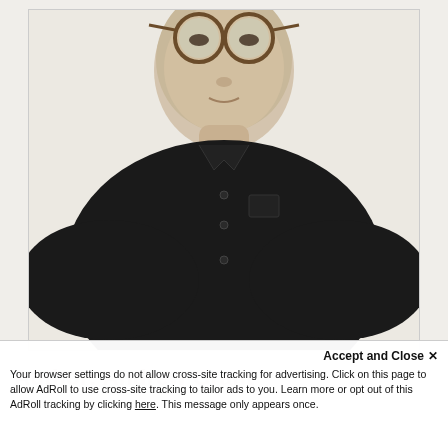[Figure (photo): Portrait photograph of a man wearing round glasses and a black button-up shirt, photographed against a light beige/cream background. The photo shows him from roughly chest-up.]
Author: Andrew Grant
Accept and Close ✕
Your browser settings do not allow cross-site tracking for advertising. Click on this page to allow AdRoll to use cross-site tracking to tailor ads to you. Learn more or opt out of this AdRoll tracking by clicking here. This message only appears once.